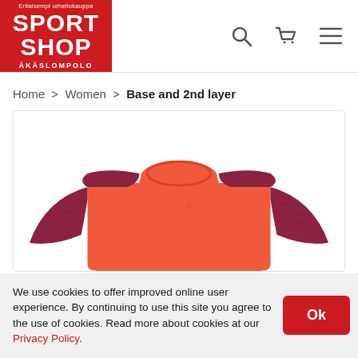Sport Shop Äkäslompolo — Erilaisempi urheilukauppa
Home > Women > Base and 2nd layer
[Figure (photo): Orange and dark red/burgundy women's long-sleeve base layer top displayed on a headless mannequin. The main body is coral/orange and the sleeves are dark wine/burgundy knit.]
We use cookies to offer improved online user experience. By continuing to use this site you agree to the use of cookies. Read more about cookies at our Privacy Policy.